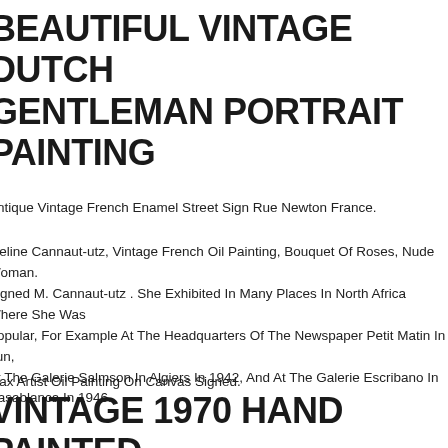BEAUTIFUL VINTAGE DUTCH GENTLEMAN PORTRAIT PAINTING
Antique Vintage French Enamel Street Sign Rue Newton France.
Meline Cannaut-utz, Vintage French Oil Painting, Bouquet Of Roses, Nude Woman. Signed M. Cannaut-utz . She Exhibited In Many Places In North Africa Where She Was Popular, For Example At The Headquarters Of The Newspaper Petit Matin In Tun, At The Galerie Salmson In Algiers In 1942, And At The Galerie Escribano In Casablanca In 1946.
Max Artist Oil Painting On Canvas Signed.
VINTAGE 1970 HAND PAINTED WATERCOLOR INK ON PAPER PAINTING LANDSCAPE SIGNE FRAMED